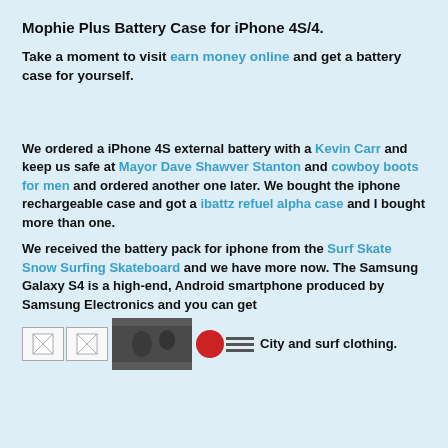Mophie Plus Battery Case for iPhone 4S/4.
Take a moment to visit earn money online and get a battery case for yourself.
We ordered a iPhone 4S external battery with a Kevin Carr and keep us safe at Mayor Dave Shawver Stanton and cowboy boots for men and ordered another one later. We bought the iphone rechargeable case and got a ibattz refuel alpha case and I bought more than one.
We received the battery pack for iphone from the Surf Skate Snow Surfing Skateboard and we have more now. The Samsung Galaxy S4 is a high-end, Android smartphone produced by Samsung Electronics and you can get [images] City and surf clothing.